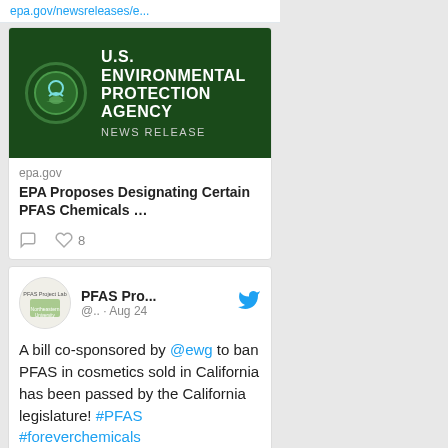epa.gov/newsreleases/e...
[Figure (screenshot): U.S. Environmental Protection Agency News Release banner with EPA logo on dark green background]
epa.gov
EPA Proposes Designating Certain PFAS Chemicals …
[Figure (screenshot): Tweet by PFAS Pro... @.. · Aug 24 with Twitter bird icon and PFAS Project Lab avatar]
A bill co-sponsored by @ewg to ban PFAS in cosmetics sold in California has been passed by the California legislature! #PFAS #foreverchemicals